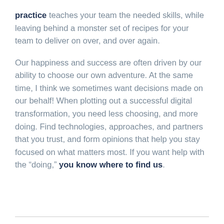practice teaches your team the needed skills, while leaving behind a monster set of recipes for your team to deliver on over, and over again.
Our happiness and success are often driven by our ability to choose our own adventure. At the same time, I think we sometimes want decisions made on our behalf! When plotting out a successful digital transformation, you need less choosing, and more doing. Find technologies, approaches, and partners that you trust, and form opinions that help you stay focused on what matters most. If you want help with the “doing,” you know where to find us.